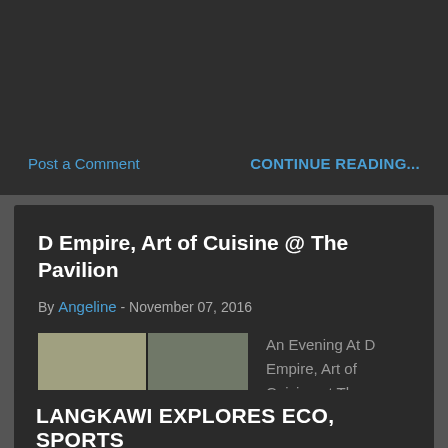Post a Comment
CONTINUE READING...
D Empire, Art of Cuisine @ The Pavilion
By Angeline - November 07, 2016
[Figure (photo): Collage of food photos and people at D Empire restaurant]
An Evening At D Empire, Art of Cuisine at The Pavilion, Kuala Lumpur started operations in September 2007 and continues to be the premier shopping destination in the heart of groovy Bukit ...
Post a Comment
CONTINUE READING...
LANGKAWI EXPLORES ECO, SPORTS